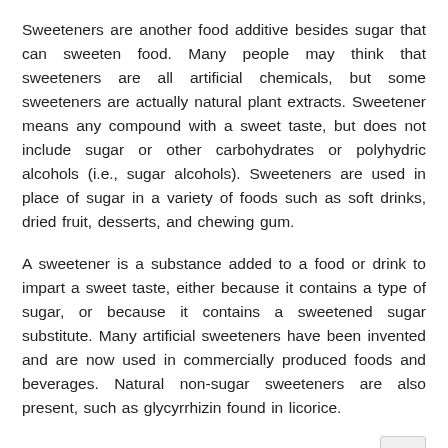Sweeteners are another food additive besides sugar that can sweeten food. Many people may think that sweeteners are all artificial chemicals, but some sweeteners are actually natural plant extracts. Sweetener means any compound with a sweet taste, but does not include sugar or other carbohydrates or polyhydric alcohols (i.e., sugar alcohols). Sweeteners are used in place of sugar in a variety of foods such as soft drinks, dried fruit, desserts, and chewing gum.
A sweetener is a substance added to a food or drink to impart a sweet taste, either because it contains a type of sugar, or because it contains a sweetened sugar substitute. Many artificial sweeteners have been invented and are now used in commercially produced foods and beverages. Natural non-sugar sweeteners are also present, such as glycyrrhizin found in licorice.
The new products launched by Lifeasible include: Regular Stevia (80% -98%), Rebaudioside A, Rebaudioside F,